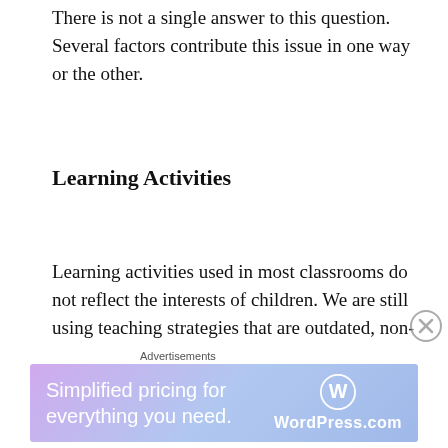There is not a single answer to this question. Several factors contribute this issue in one way or the other.
Learning Activities
Learning activities used in most classrooms do not reflect the interests of children. We are still using teaching strategies that are outdated, non-engaging and based on memorization to teach children whose attention spans have changed over the years. Most of the digital-age children have very short attention and memory spans. Lecturing for hours without interactive activities, hands-on-activities, and experiential learning
Advertisements
[Figure (other): WordPress.com advertisement banner with text: Simplified pricing for everything you need.]